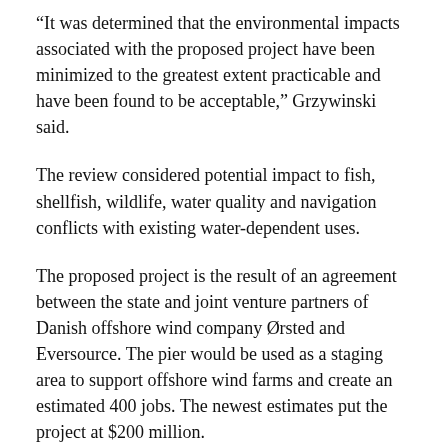“It was determined that the environmental impacts associated with the proposed project have been minimized to the greatest extent practicable and have been found to be acceptable,” Grzywinski said.
The review considered potential impact to fish, shellfish, wildlife, water quality and navigation conflicts with existing water-dependent uses.
The proposed project is the result of an agreement between the state and joint venture partners of Danish offshore wind company Ørsted and Eversource. The pier would be used as a staging area to support offshore wind farms and create an estimated 400 jobs. The newest estimates put the project at $200 million.
Two dozen of the 80 people in attendance spoke at the hearing, conducted on Zoom. They offered a mix of praise and disdain.